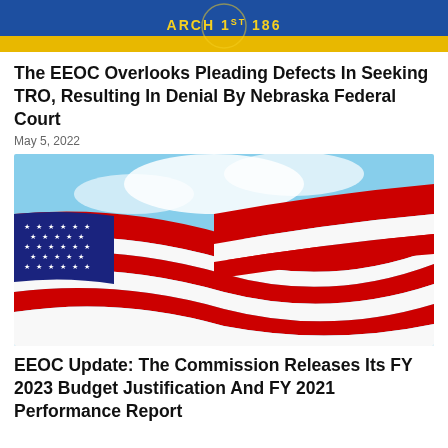[Figure (photo): Top portion of a state seal or flag with yellow arc text reading 'ARCH 1ST 186' on blue background with yellow design]
The EEOC Overlooks Pleading Defects In Seeking TRO, Resulting In Denial By Nebraska Federal Court
May 5, 2022
[Figure (photo): American flag waving against a blue sky with white clouds, showing stars and red and white stripes prominently]
EEOC Update: The Commission Releases Its FY 2023 Budget Justification And FY 2021 Performance Report